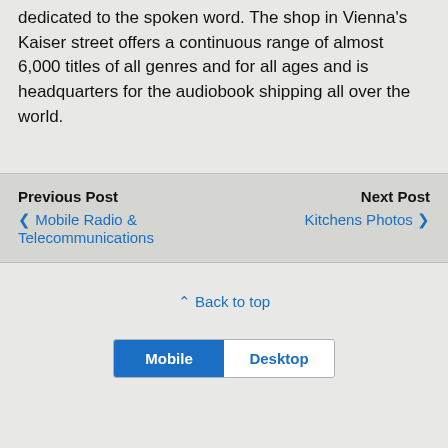dedicated to the spoken word. The shop in Vienna's Kaiser street offers a continuous range of almost 6,000 titles of all genres and for all ages and is headquarters for the audiobook shipping all over the world.
Previous Post
◀ Mobile Radio & Telecommunications
Next Post
Kitchens Photos ▶
⋀ Back to top
Mobile | Desktop